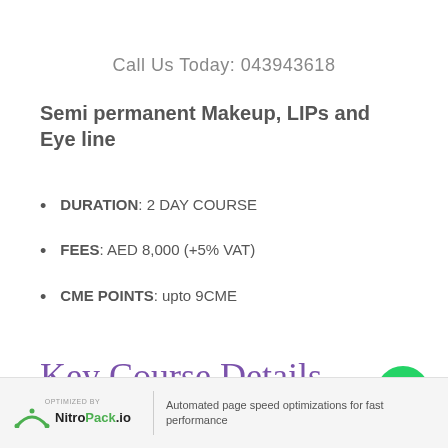Call Us Today: 043943618
Semi permanent Makeup, LIPs and Eye line
DURATION: 2 DAY COURSE
FEES: AED 8,000 (+5% VAT)
CME POINTS: upto 9CME
Key Course Details
OPTIMIZED BY NitroPack.io | Automated page speed optimizations for fast performance